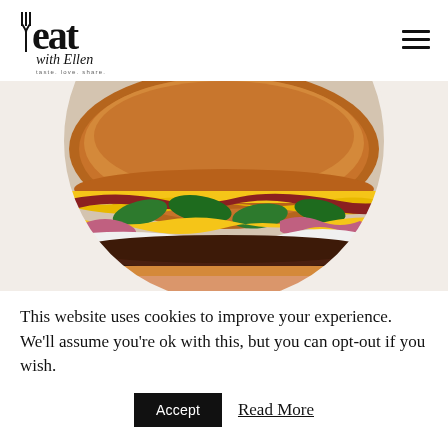[Figure (logo): Eat with Ellen logo featuring stylized 'eat' text with fork icon, cursive 'with Ellen' subtitle, and tagline 'taste. love. share.']
[Figure (photo): Close-up photo of a large gourmet burger with melted cheese, jalapeños, pickled red onions, and brioche bun, cropped in a circle]
This website uses cookies to improve your experience. We'll assume you're ok with this, but you can opt-out if you wish.
Accept  Read More